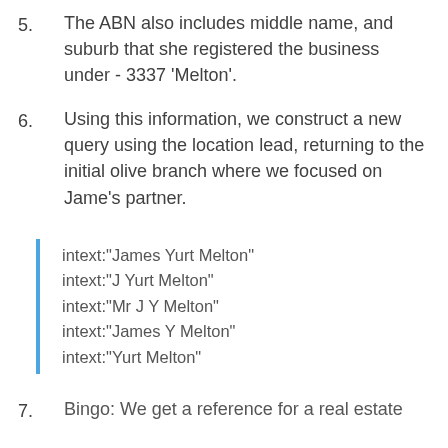5. The ABN also includes middle name, and suburb that she registered the business under - 3337 'Melton'.
6. Using this information, we construct a new query using the location lead, returning to the initial olive branch where we focused on Jame's partner.
intext:"James Yurt Melton"
intext:"J Yurt Melton"
intext:"Mr J Y Melton"
intext:"James Y Melton"
intext:"Yurt Melton"
7. Bingo: We get a reference for a real estate